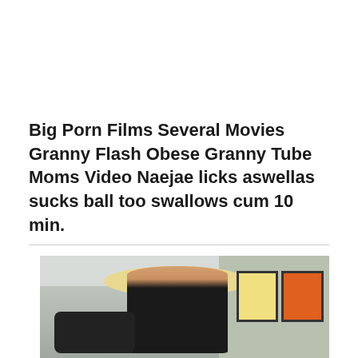Big Porn Films Several Movies Granny Flash Obese Granny Tube Moms Video Naejae licks aswellas sucks ball too swallows cum 10 min.
[Figure (photo): A blonde woman in a black shirt standing in a room with a camera on a tripod to her left and framed artwork on the wall to her right.]